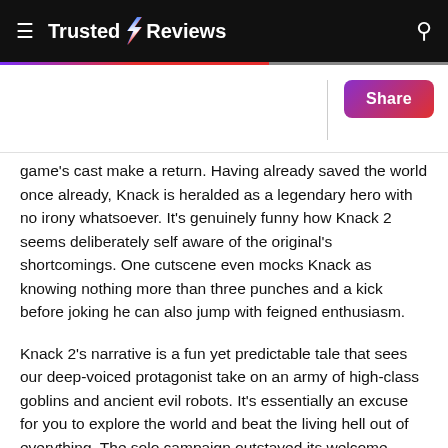Trusted Reviews
game's cast make a return. Having already saved the world once already, Knack is heralded as a legendary hero with no irony whatsoever. It's genuinely funny how Knack 2 seems deliberately self aware of the original's shortcomings. One cutscene even mocks Knack as knowing nothing more than three punches and a kick before joking he can also jump with feigned enthusiasm.
Knack 2's narrative is a fun yet predictable tale that sees our deep-voiced protagonist take on an army of high-class goblins and ancient evil robots. It's essentially an excuse for you to explore the world and beat the living hell out of everything. The solo campaign outstayed its welcome somewhat, going for a couple hours more without any